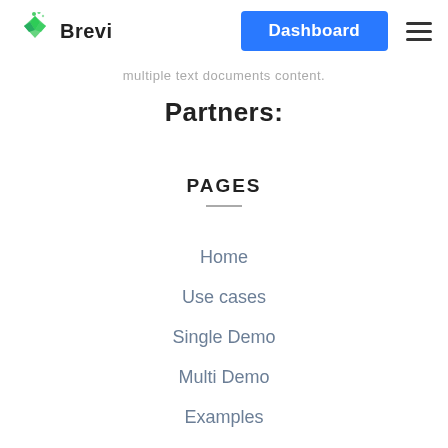Brevi — Dashboard (navigation bar with logo and hamburger menu)
multiple text documents content.
Partners:
PAGES
Home
Use cases
Single Demo
Multi Demo
Examples
Blog